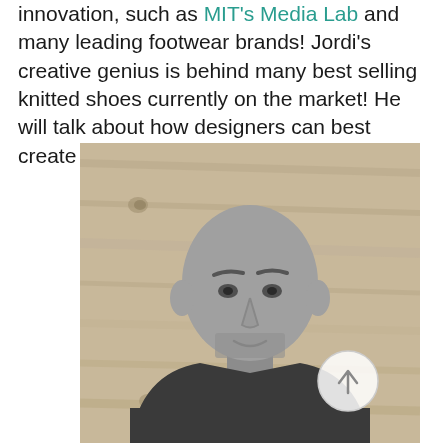innovation, such as MIT's Media Lab and many leading footwear brands! Jordi's creative genius is behind many best selling knitted shoes currently on the market! He will talk about how designers can best create their designs with knitting in mind.
[Figure (photo): Black and white portrait photo of a bald man with stubble wearing a dark t-shirt, photographed against a wooden plank background. A circular scroll-up button is overlaid in the bottom-right corner of the image.]